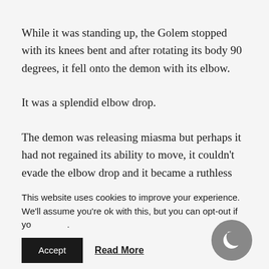While it was standing up, the Golem stopped with its knees bent and after rotating its body 90 degrees, it fell onto the demon with its elbow.
It was a splendid elbow drop.
The demon was releasing miasma but perhaps it had not regained its ability to move, it couldn't evade the elbow drop and it became a ruthless blow towards the recently
This website uses cookies to improve your experience. We'll assume you're ok with this, but you can opt-out if yo.
Accept   Read More